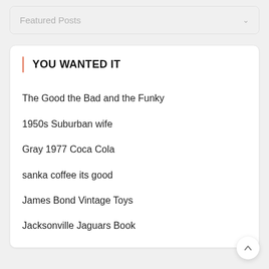Featured Posts
YOU WANTED IT
The Good the Bad and the Funky
1950s Suburban wife
Gray 1977 Coca Cola
sanka coffee its good
James Bond Vintage Toys
Jacksonville Jaguars Book